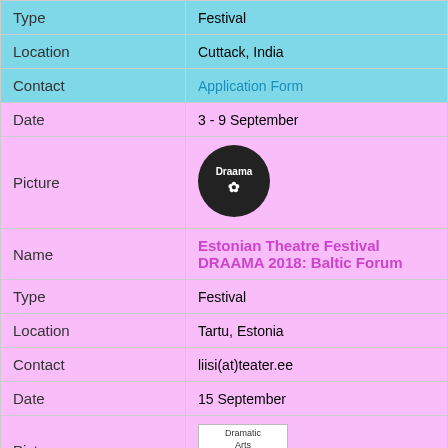| Field | Value |
| --- | --- |
| Type | Festival |
| Location | Cuttack, India |
| Contact | Application Form |
| Date | 3 - 9 September |
| Picture | (Draama logo) |
| Name | Estonian Theatre Festival DRAAMA 2018: Baltic Forum |
| Type | Festival |
| Location | Tartu, Estonia |
| Contact | liisi(at)teater.ee |
| Date | 15 September |
| Picture | (Dramatic Arts Center logo) |
| Name | 3th International Street Theatre Festival |
| Type | Festival |
| Location | Marivan |
| Contact | dramatic.artcenter.iran(at)gmail.com |
| Date | 21 - 27 September |